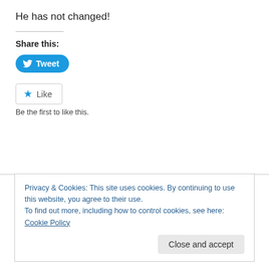He has not changed!
Share this:
[Figure (other): Tweet button with Twitter bird icon]
[Figure (other): Like button with star icon]
Be the first to like this.
Privacy & Cookies: This site uses cookies. By continuing to use this website, you agree to their use. To find out more, including how to control cookies, see here: Cookie Policy
Close and accept